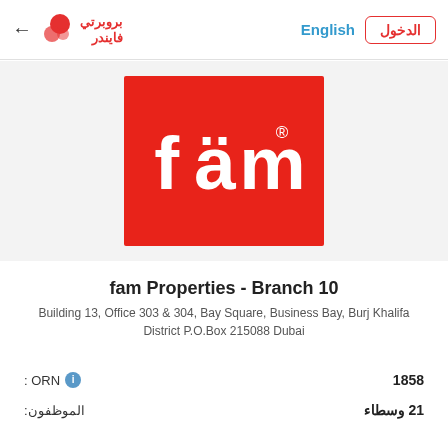← بروبرتي فايندر | English | الدخول
[Figure (logo): fam Properties logo: white text 'fäm' with registered trademark symbol on a red background]
fam Properties - Branch 10
Building 13, Office 303 & 304, Bay Square, Business Bay, Burj Khalifa District P.O.Box 215088 Dubai
ORN: 1858
الموظفون: 21 وسطاء